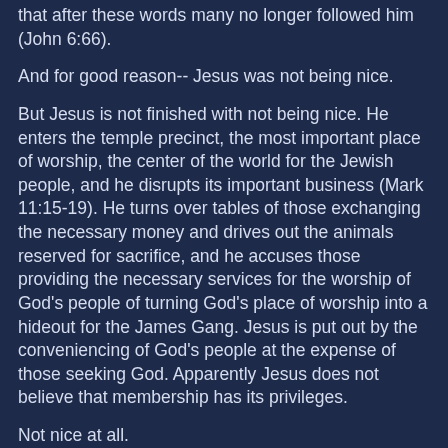that after these words many no longer followed him (John 6:66).
And for good reason-- Jesus was not being nice.
But Jesus is not finished with not being nice. He enters the temple precinct, the most important place of worship, the center of the world for the Jewish people, and he disrupts its important business (Mark 11:15-19). He turns over tables of those exchanging the necessary money and drives out the animals reserved for sacrifice, and he accuses those providing the necessary services for the worship of God's people of turning God's place of worship into a hideout for the James Gang. Jesus is put out by the conveniencing of God's people at the expense of those seeking God. Apparently Jesus does not believe that membership has its privileges.
Not nice at all.
Is it any wonder why they arrested Jesus and beat him and hung him high on a cross? Nice people don't get crucified.